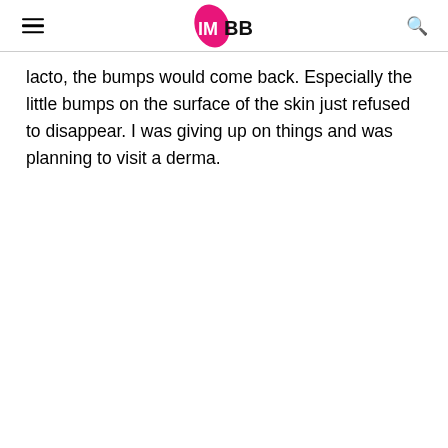IMBB
lacto, the bumps would come back. Especially the little bumps on the surface of the skin just refused to disappear. I was giving up on things and was planning to visit a derma.